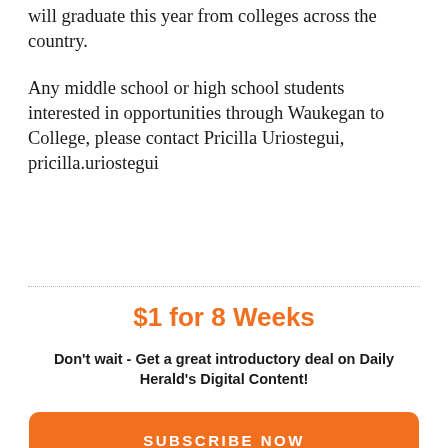will graduate this year from colleges across the country.
Any middle school or high school students interested in opportunities through Waukegan to College, please contact Pricilla Uriostegui, pricilla.uriostegui
$1 for 8 Weeks
Don't wait - Get a great introductory deal on Daily Herald's Digital Content!
SUBSCRIBE NOW